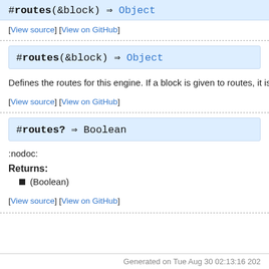#routes(&block) ⇒ Object
[View source] [View on GitHub]
Defines the routes for this engine. If a block is given to routes, it is
[View source] [View on GitHub]
#routes? ⇒ Boolean
:nodoc:
Returns:
(Boolean)
[View source] [View on GitHub]
Generated on Tue Aug 30 02:13:16 202